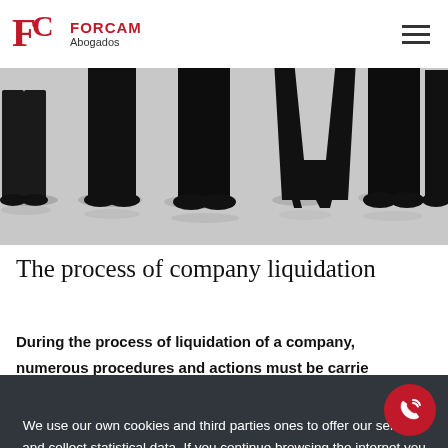[Figure (logo): FORCAM Abogados logo with red F and C letters]
[Figure (photo): Silhouette of business people standing, black and white tones, lower body only visible]
The process of company liquidation
During the process of liquidation of a company, numerous procedures and actions must be carried
We use our own cookies and third parties ones to offer our services and collect statistical data. If you continue browsing the internet you accept them. More information
Accept
opening of the liquidation.